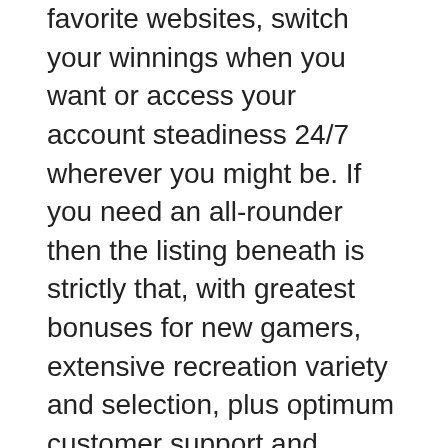favorite websites, switch your winnings when you want or access your account steadiness 24/7 wherever you might be. If you need an all-rounder then the listing beneath is strictly that, with greatest bonuses for new gamers, extensive recreation variety and selection, plus optimum customer support and person expertise. If you want to specialise, keep scrolling and we'll delve deeper into Online Slots, Roulette, Blackjack, Live Casino, Poker and more. Most gambling websites are geared in the path of actual cash games, that means you'll have loads of choices to select from. You can spot real money games at online casinos by looking for the betting limits.
Find out here which new video games have been launched, where there are some thrilling new promotions and what could be expected in the coming weeks from the most popular online casinos in the UK. 30 Spins on Starburst will be credited instantly + then 30 per day for 9 days. 100 percent bonus on first